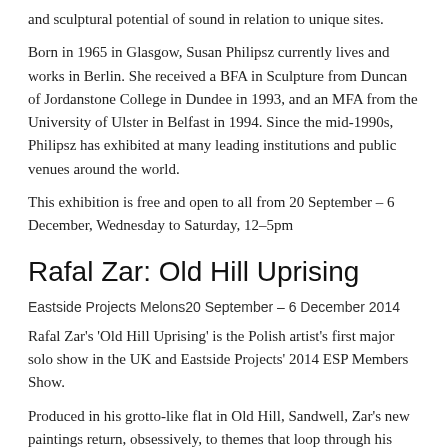and sculptural potential of sound in relation to unique sites.
Born in 1965 in Glasgow, Susan Philipsz currently lives and works in Berlin. She received a BFA in Sculpture from Duncan of Jordanstone College in Dundee in 1993, and an MFA from the University of Ulster in Belfast in 1994. Since the mid-1990s, Philipsz has exhibited at many leading institutions and public venues around the world.
This exhibition is free and open to all from 20 September – 6 December, Wednesday to Saturday, 12–5pm
Rafal Zar: Old Hill Uprising
Eastside Projects Melons20 September – 6 December 2014
Rafal Zar's 'Old Hill Uprising' is the Polish artist's first major solo show in the UK and Eastside Projects' 2014 ESP Members Show.
Produced in his grotto-like flat in Old Hill, Sandwell, Zar's new paintings return, obsessively, to themes that loop through his work: religion, sexuality, oppression, ageing and unrequited love. Two new series of dark paintings mark a departure for Zar from the cartoonish light of his previous characters.
'Crucifixion / Black Christ' and 'The Hunger
[Figure (photo): A painting with dark purple and blue horizontal bands against a wooden frame, partially visible at the bottom right of the page.]